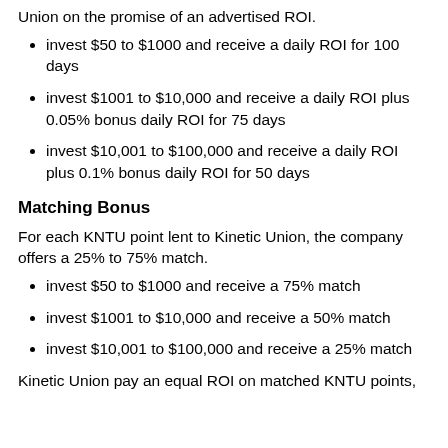Union on the promise of an advertised ROI.
invest $50 to $1000 and receive a daily ROI for 100 days
invest $1001 to $10,000 and receive a daily ROI plus 0.05% bonus daily ROI for 75 days
invest $10,001 to $100,000 and receive a daily ROI plus 0.1% bonus daily ROI for 50 days
Matching Bonus
For each KNTU point lent to Kinetic Union, the company offers a 25% to 75% match.
invest $50 to $1000 and receive a 75% match
invest $1001 to $10,000 and receive a 50% match
invest $10,001 to $100,000 and receive a 25% match
Kinetic Union pay an equal ROI on matched KNTU points,